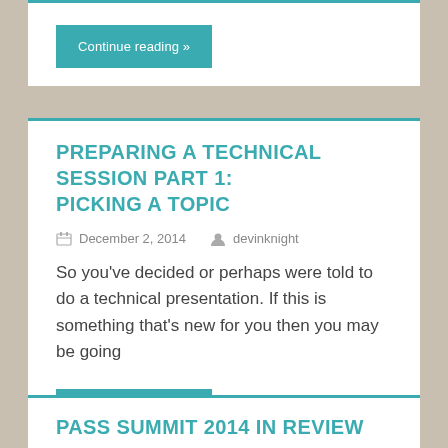Continue reading »
PREPARING A TECHNICAL SESSION PART 1: PICKING A TOPIC
December 2, 2014   devinknight
So you've decided or perhaps were told to do a technical presentation. If this is something that's new for you then you may be going
Continue reading »
PASS SUMMIT 2014 IN REVIEW